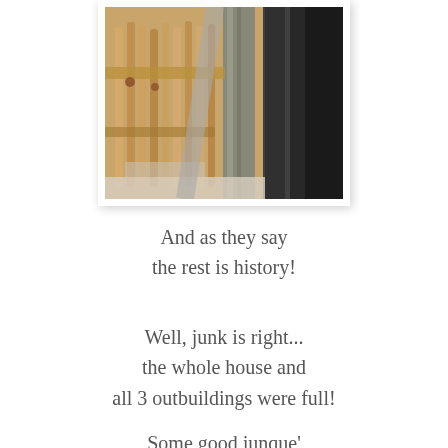[Figure (photo): Photograph showing wooden spindles, balusters, and architectural elements stored inside a building, viewed from above at an angle. Items appear to be antique architectural salvage pieces leaning against walls.]
And as they say
the rest is history!
Well, junk is right...
the whole house and
all 3 outbuildings were full!
Some good junque'
but also a lot of just junky-junk
3 yardsales later we were ready
to start working on our treasure